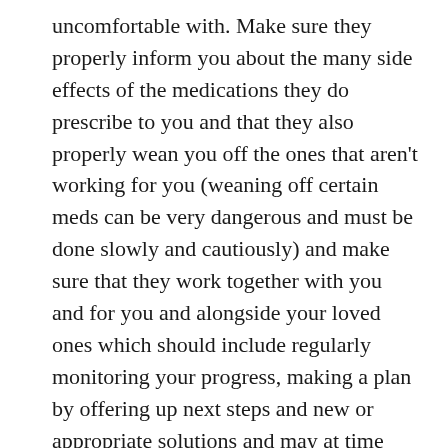uncomfortable with. Make sure they properly inform you about the many side effects of the medications they do prescribe to you and that they also properly wean you off the ones that aren't working for you (weaning off certain meds can be very dangerous and must be done slowly and cautiously) and make sure that they work together with you and for you and alongside your loved ones which should include regularly monitoring your progress, making a plan by offering up next steps and new or appropriate solutions and may at time also include them turning to colleagues or outside support for guidance so not to miss out on something.